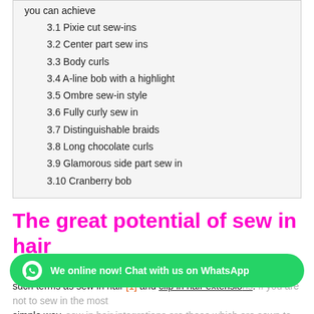you can achieve
3.1 Pixie cut sew-ins
3.2 Center part sew ins
3.3 Body curls
3.4 A-line bob with a highlight
3.5 Ombre sew-in style
3.6 Fully curly sew in
3.7 Distinguishable braids
3.8 Long chocolate curls
3.9 Glamorous side part sew in
3.10 Cranberry bob
The great potential of sew in hair
If you are a vivid reader of our website, you will be familiar with such terms as sew in hair [1] and clip in hair extensions. If you are not to sew in the most simple way, sew in hair integrations are those which are sewn to your natural hair. Therefore, African –
We online now! Chat with us on WhatsApp